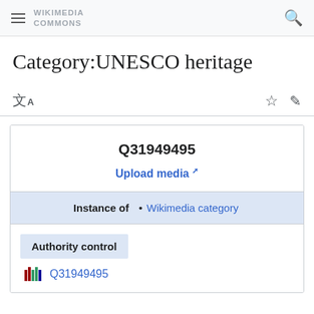Wikimedia Commons
Category:UNESCO heritage
Q31949495
Upload media
Instance of • Wikimedia category
Authority control
Q31949495